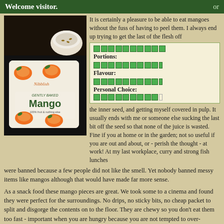Welcome visitor.    or
[Figure (photo): Photo of a Nibblish Gently Baked Mango snack packet lying on a dark surface next to a white bowl/cup]
It is certainly a pleasure to be able to eat mangoes without the fuss of having to peel them. I always end up trying to get the last of the flesh off the inner seed, and getting myself covered in pulp. It usually ends with me or someone else sucking the last bit off the seed so that none of the juice is wasted. Fine if you at home or in the garden; not so useful if you are out and about, or - perish the thought - at work! At my last workplace, curry and strong fish lunches were banned because a few people did not like the smell. Yet nobody banned messy items like mangos although that would have made far more sense.
[Figure (infographic): Ratings box with three categories: Portions (10 green squares full), Flavour (9.5 green squares), Personal Choice (9 green squares)]
As a snack food these mango pieces are great. We took some to a cinema and found they were perfect for the surroundings. No drips, no sticky bits, no cheap packet to split and disgorge the contents on to the floor. They are chewy so you don't eat them too fast - important when you are hungry because you are not tempted to over-indulge. (We were heading off for dinner at the end of the movie so did not want to eat too much beforehand.) And they taste authentic too, so you do get the full mango experience.